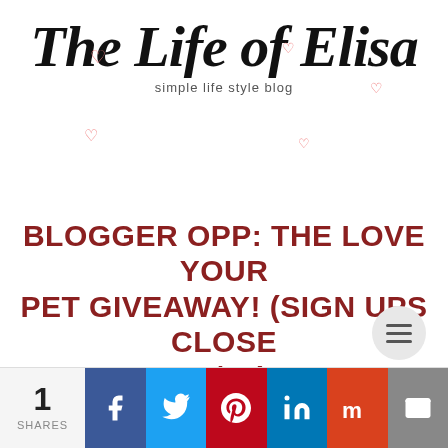[Figure (logo): The Life of Elisa – simple life style blog logo with script font and decorative hearts]
BLOGGER OPP: THE LOVE YOUR PET GIVEAWAY! (SIGN UPS CLOSE 12/30)
DECEMBER 26, 2016
[Figure (other): Hamburger menu button (three horizontal lines in a grey circle)]
1 SHARES
[Figure (infographic): Social share buttons: Facebook, Twitter, Pinterest, LinkedIn, Mix, Email]